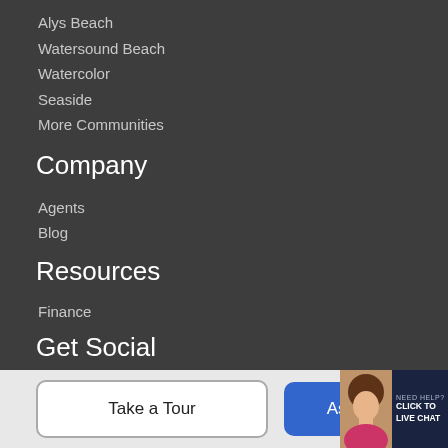Alys Beach
Watersound Beach
Watercolor
Seaside
More Communities
Company
Agents
Blog
Resources
Finance
Get Social
[Figure (infographic): Row of five circular social media icons: Twitter (blue), Facebook (dark blue), Pinterest (red), YouTube (red), Instagram (pink)]
About Us
Take a Tour
Ask A Q...
[Figure (infographic): Live chat widget with agent avatar photo, 'NEED HELP? CLICK TO LIVE CHAT' text on dark navy background]